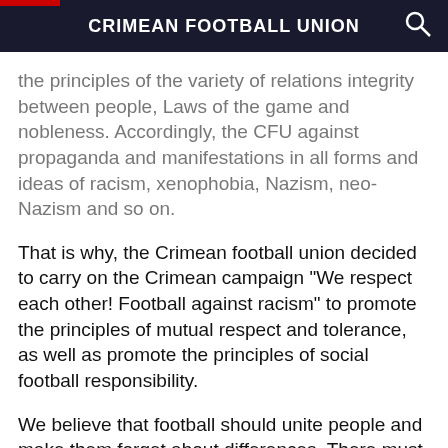CRIMEAN FOOTBALL UNION
the principles of the variety of relations integrity between people, Laws of the game and nobleness. Accordingly, the CFU against propaganda and manifestations in all forms and ideas of racism, xenophobia, Nazism, neo-Nazism and so on.
That is why, the Crimean football union decided to carry on the Crimean campaign "We respect each other! Football against racism" to promote the principles of mutual respect and tolerance, as well as promote the principles of social football responsibility.
We believe that football should unite people and make them forget about differences. There must not be violence in football, neither on the field, nor in the stands. Football should be an example of respect to the principles of variety of our live.